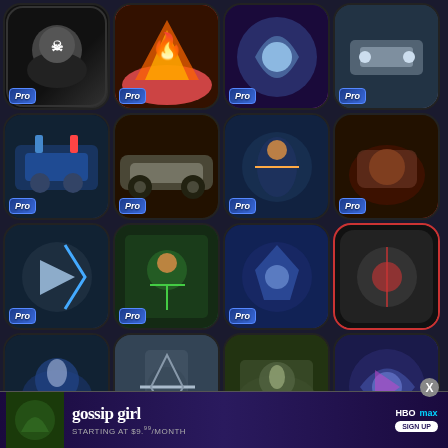[Figure (screenshot): Grid of mobile game app icons, mostly with 'Pro' badges, showing action/racing/fight games in a 4-column layout across 5 rows, with an HBO Max gossip girl ad banner at the bottom]
[Figure (screenshot): HBO Max advertisement banner for Gossip Girl, starting at $9.99/month, with SIGN UP button]